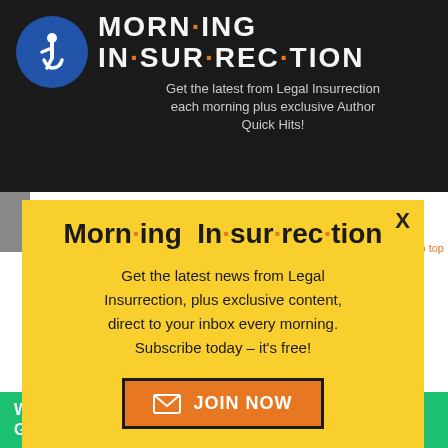[Figure (screenshot): Top banner of Legal Insurrection website with accessibility icon (blue circle with wheelchair symbol), 'Morning Insurrection' title in white bold text with orange dots between syllables, and subtitle 'Get the latest from Legal Insurrection each morning plus exclusive Author Quick Hits!' on dark background.]
[Figure (screenshot): Modal popup on yellow (#f9cf2e) background with 'X' close button. Title: 'Morn·ing In·sur·rec·tion' in large bold black text with orange dots. Body text: 'Get the latest news from Legal Insurrection, plus exclusive content, direct to your inbox every morning. Subscribe today – it's free!' Orange 'JOIN NOW' button with envelope icon and black border.]
[Figure (screenshot): Bottom of website page with staff titles: 'Sr. Contrib Editor', 'Contrib Editor', 'Fuzzy...' (Weekend Editor), 'Higher Ed'. Small white X close button and green Fiverr advertisement banner: 'Working from home? Get your projects done on fiverr'.]